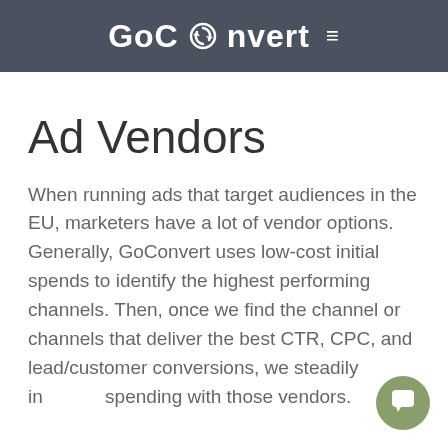GoConvert ≡
Ad Vendors
When running ads that target audiences in the EU, marketers have a lot of vendor options. Generally, GoConvert uses low-cost initial spends to identify the highest performing channels. Then, once we find the channel or channels that deliver the best CTR, CPC, and lead/customer conversions, we steadily increase spending with those vendors.